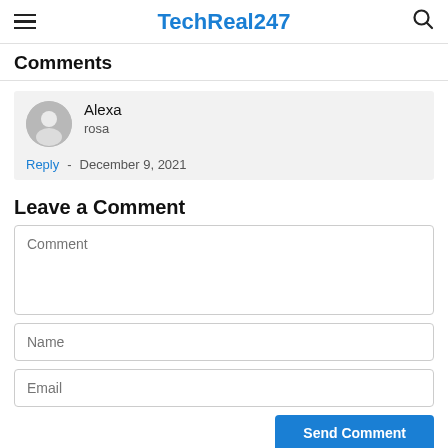TechReal247
Comments
Alexa
rosa
Reply - December 9, 2021
Leave a Comment
Comment (textarea placeholder)
Name (input placeholder)
Email (input placeholder)
Send Comment (button)